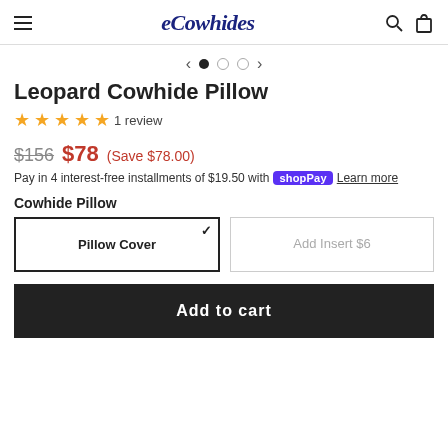eCowhides
Leopard Cowhide Pillow
★★★★★ 1 review
$156  $78  (Save $78.00)
Pay in 4 interest-free installments of $19.50 with shop Pay  Learn more
Cowhide Pillow
Pillow Cover  |  Add Insert $6
Add to cart